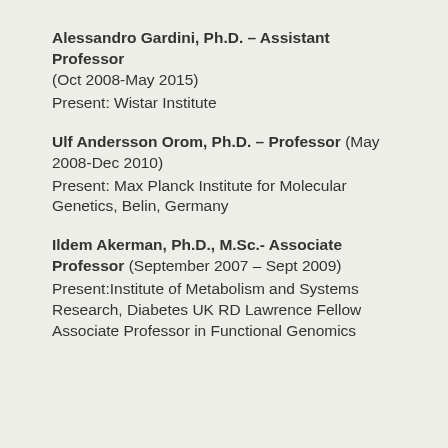Alessandro Gardini, Ph.D. – Assistant Professor (Oct 2008-May 2015)
Present: Wistar Institute
Ulf Andersson Orom, Ph.D. – Professor (May 2008-Dec 2010)
Present: Max Planck Institute for Molecular Genetics, Belin, Germany
Ildem Akerman, Ph.D., M.Sc.- Associate Professor (September 2007 – Sept 2009)
Present:Institute of Metabolism and Systems Research, Diabetes UK RD Lawrence Fellow Associate Professor in Functional Genomics